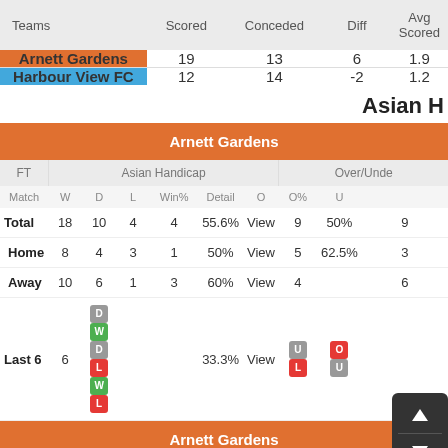| Teams | Scored | Conceded | Diff | Avg Scored |
| --- | --- | --- | --- | --- |
| Arnett Gardens | 19 | 13 | 6 | 1.9 |
| Harbour View FC | 12 | 14 | -2 | 1.2 |
Asian H
Arnett Gardens
| FT | Match | W | D | L | Win% | Detail | O | O% | U | Asian Handicap | Over/Under |
| --- | --- | --- | --- | --- | --- | --- | --- | --- | --- | --- | --- |
| Total | 18 | 10 | 4 | 4 | 55.6% | View | 9 | 50% | 9 |  |
| Home | 8 | 4 | 3 | 1 | 50% | View | 5 | 62.5% | 3 |  |
| Away | 10 | 6 | 1 | 3 | 60% | View | 4 |  | 6 |  |
| Last 6 | 6 | D W D L W L |  |  | 33.3% | View | U L O U |  |  |  |
Arnett Gardens
| HT | Match | W | D | L | Win% | Detail | O% |
| --- | --- | --- | --- | --- | --- | --- | --- |